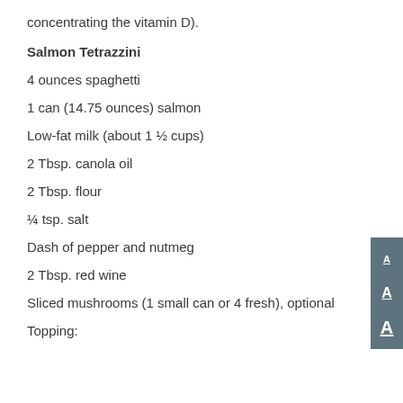concentrating the vitamin D).
Salmon Tetrazzini
4 ounces spaghetti
1 can (14.75 ounces) salmon
Low-fat milk (about 1 ½ cups)
2 Tbsp. canola oil
2 Tbsp. flour
¼ tsp. salt
Dash of pepper and nutmeg
2 Tbsp. red wine
Sliced mushrooms (1 small can or 4 fresh), optional
Topping: